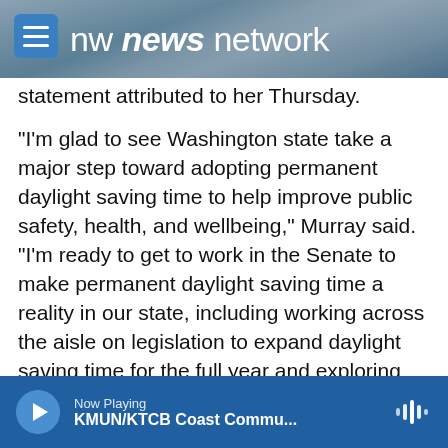nw news network
statement attributed to her Thursday.
"I'm glad to see Washington state take a major step toward adopting permanent daylight saving time to help improve public safety, health, and wellbeing," Murray said. "I'm ready to get to work in the Senate to make permanent daylight saving time a reality in our state, including working across the aisle on legislation to expand daylight saving time for the full year and exploring other options."
State Rep. Marcus Riccelli (D-Spokane) sponsored the legislation signed by the governor Wednesday. Riccelli said he was motivated to pursue the issue
Now Playing KMUN/KTCB Coast Commu...